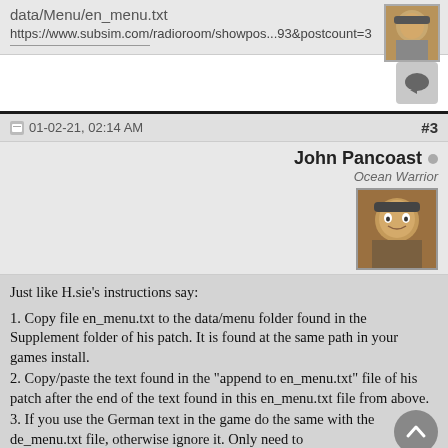data/Menu/en_menu.txt
https://www.subsim.com/radioroom/showpos...93&postcount=3
01-02-21, 02:14 AM
#3
John Pancoast
Ocean Warrior
Just like H.sie's instructions say:

1. Copy file en_menu.txt to the data/menu folder found in the Supplement folder of his patch. It is found at the same path in your games install.
2. Copy/paste the text found in the "append to en_menu.txt" file of his patch after the end of the text found in this en_menu.txt file from above.
3. If you use the German text in the game do the same with the de_menu.txt file, otherwise ignore it. Only need to